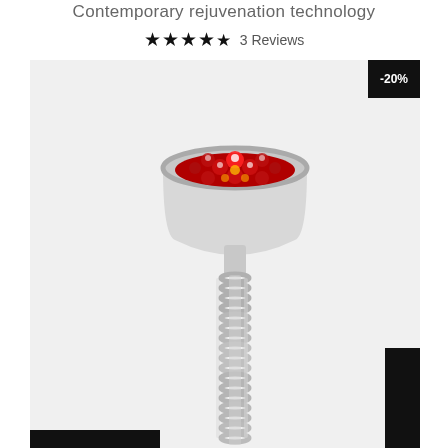Contemporary rejuvenation technology
★★★★½  3 Reviews
[Figure (photo): LED light therapy device with silver metallic spiral handle and circular head containing multiple red LED lights, shown on light gray background with a -20% discount badge in the top right corner]